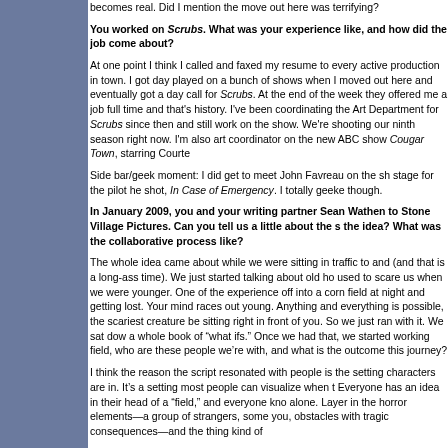becomes real. Did I mention the move out here was terrifying?
You worked on Scrubs. What was your experience like, and how did the job come about?
At one point I think I called and faxed my resume to every active production in town. I got day played on a bunch of shows when I moved out here and eventually got a day call for Scrubs. At the end of the week they offered me a job full time and that's history. I've been coordinating the Art Department for Scrubs since then and still work on the show. We're shooting our ninth season right now. I'm also art coordinator on the new ABC show Cougar Town, starring Courteney Cox.
Side bar/geek moment: I did get to meet John Favreau on the show. We shared a stage for the pilot he shot, In Case of Emergency. I totally geeked out internally though.
In January 2009, you and your writing partner Sean Wathen sold a script to Stone Village Pictures. Can you tell us a little about the script and how the idea? What was the collaborative process like?
The whole idea came about while we were sitting in traffic to and from work (and that is a long-ass time). We just started talking about old horror movies that used to scare us when we were younger. One of the experiences was wandering off into a corn field at night and getting lost. Your mind races out there when you're young. Anything and everything is possible, the scariest creature imaginable could be sitting right in front of you. So we just ran with it. We sat down and compiled a whole book of "what ifs." Once we had that, we started working on who's in the field, who are these people we're with, and what is the outcome of embarking on this journey?
I think the reason the script resonated with people is the setting the characters are in. It's a setting most people can visualize when they read the script. Everyone has an idea in their head of a "field," and everyone knows what it's like to be alone. Layer in the horror elements—a group of strangers, someone hunting you, obstacles with tragic consequences—and the thing kind of writes itself.
This was truly our first collaborative project together. We would talk about future projects together, but never once had we sat down and started a